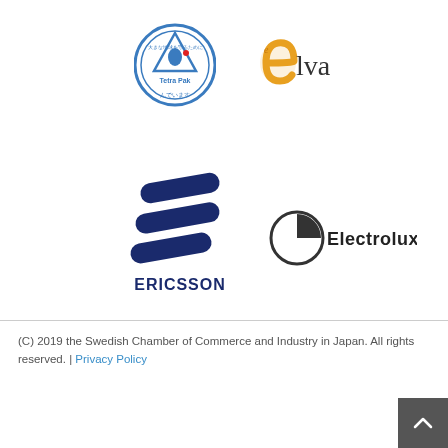[Figure (logo): Tetra Pak logo — circular badge with Japanese text and triangle/lens icon]
[Figure (logo): Elva logo — stylized orange 'e' with text 'lva']
[Figure (logo): Ericsson logo — three diagonal dark blue slanted bars above bold text ERICSSON]
[Figure (logo): Electrolux logo — circle with quarter-circle cutout icon plus word Electrolux]
(C) 2019 the Swedish Chamber of Commerce and Industry in Japan. All rights reserved. | Privacy Policy